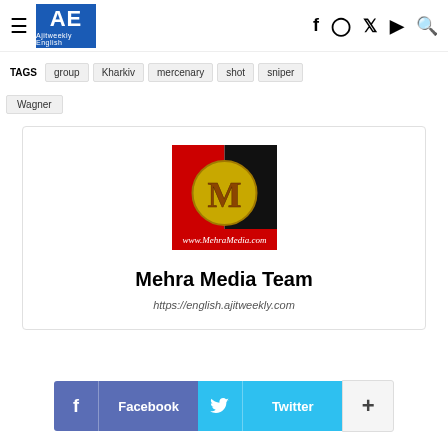AE Ajitweekly English
TAGS  group  Kharkiv  mercenary  shot  sniper  Wagner
[Figure (logo): Mehra Media logo: red and black background with gold M letter and text www.MehraMedia.com]
Mehra Media Team
https://english.ajitweekly.com
Facebook  Twitter  +